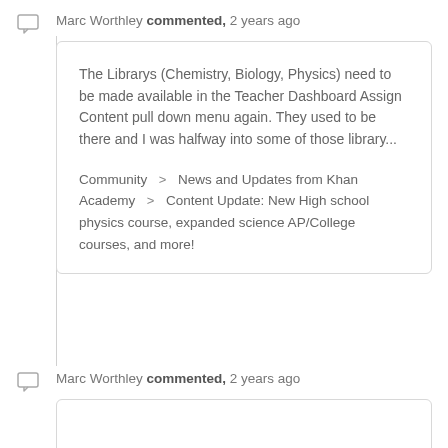Marc Worthley commented, 2 years ago
The Librarys (Chemistry, Biology, Physics) need to be made available in the Teacher Dashboard Assign Content pull down menu again. They used to be there and I was halfway into some of those library...
Community > News and Updates from Khan Academy > Content Update: New High school physics course, expanded science AP/College courses, and more!
Marc Worthley commented, 2 years ago